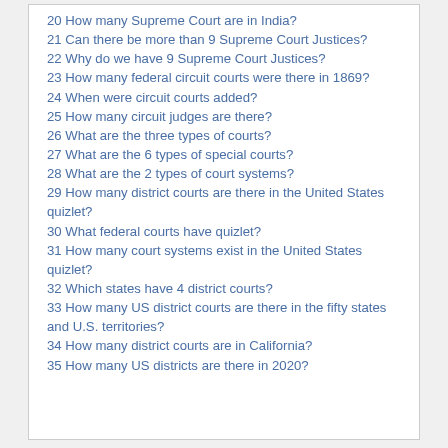20 How many Supreme Court are in India?
21 Can there be more than 9 Supreme Court Justices?
22 Why do we have 9 Supreme Court Justices?
23 How many federal circuit courts were there in 1869?
24 When were circuit courts added?
25 How many circuit judges are there?
26 What are the three types of courts?
27 What are the 6 types of special courts?
28 What are the 2 types of court systems?
29 How many district courts are there in the United States quizlet?
30 What federal courts have quizlet?
31 How many court systems exist in the United States quizlet?
32 Which states have 4 district courts?
33 How many US district courts are there in the fifty states and U.S. territories?
34 How many district courts are in California?
35 How many US districts are there in 2020?